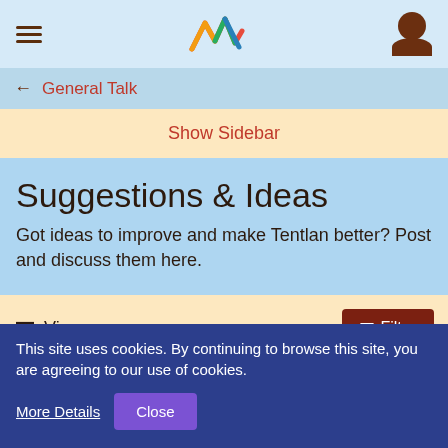General Talk — Suggestions & Ideas (forum page header with hamburger menu, logo, user icon)
← General Talk
Show Sidebar
Suggestions & Ideas
Got ideas to improve and make Tentlan better? Post and discuss them here.
Views  Filter
An alternative to Tribe Chat or Wall.
This site uses cookies. By continuing to browse this site, you are agreeing to our use of cookies.
More Details   Close